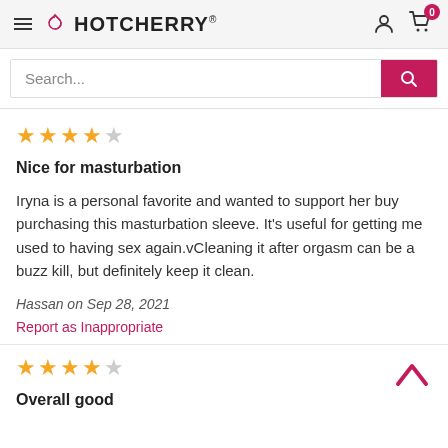HotCherry® — navigation header with hamburger menu, logo, account icon, and cart (0 items)
Search...
★★★★☆ (4 out of 5 stars)
Nice for masturbation
Iryna is a personal favorite and wanted to support her buy purchasing this masturbation sleeve. It's useful for getting me used to having sex again.vCleaning it after orgasm can be a buzz kill, but definitely keep it clean.
Hassan on Sep 28, 2021
Report as Inappropriate
★★★★☆ (4 out of 5 stars)
Overall good